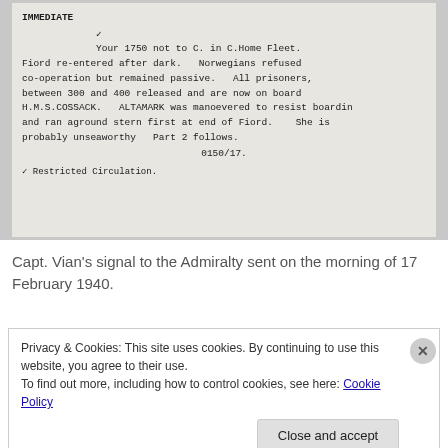[Figure (photo): Scanned typewritten document on aged paper. Text reads: IMMEDIATE. Your 1750 not to C. in C.Home Fleet. Fiord re-entered after dark. Norwegians refused co-operation but remained passive. All prisoners, between 300 and 400 released and are now on board H.M.S.COSSACK. ALTAMARK was manoevered to resist boarding and ran aground stern first at end of Fiord. She is probably unseaworthy Part 2 follows. 0150/17. * Restricted Circulation.]
Capt. Vian's signal to the Admiralty sent on the morning of 17 February 1940.
Privacy & Cookies: This site uses cookies. By continuing to use this website, you agree to their use. To find out more, including how to control cookies, see here: Cookie Policy
Close and accept